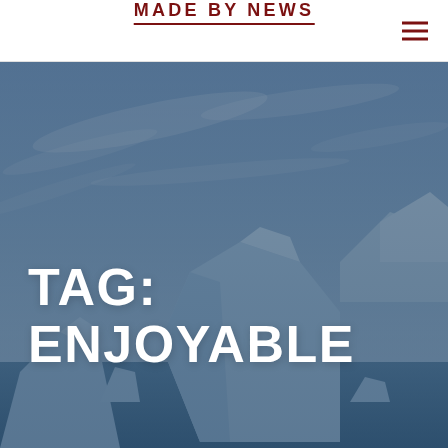MADE BY NEWS
[Figure (photo): Aerial/ground-level photograph of icebergs floating in arctic waters with dramatic cloudy sky, overlaid with dark blue tint. Large iceberg formation dominates the center-right of the image.]
TAG: ENJOYABLE